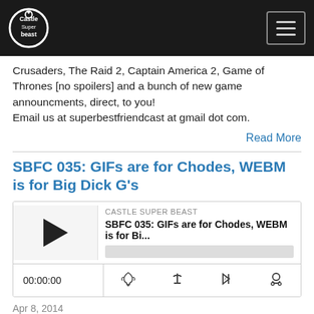Castle Super Beast
Crusaders, The Raid 2, Captain America 2, Game of Thrones [no spoilers] and a bunch of new game announcments, direct, to you!
Email us at superbestfriendcast at gmail dot com.
Read More
SBFC 035: GIFs are for Chodes, WEBM is for Big Dick G's
[Figure (other): Podcast player widget showing Castle Super Beast episode SBFC 035: GIFs are for Chodes, WEBM is for Bi... with play button, progress bar, time display 00:00:00, and control icons]
Apr 8, 2014
WEBM is the official file format of pimp ass beast dogs. If you